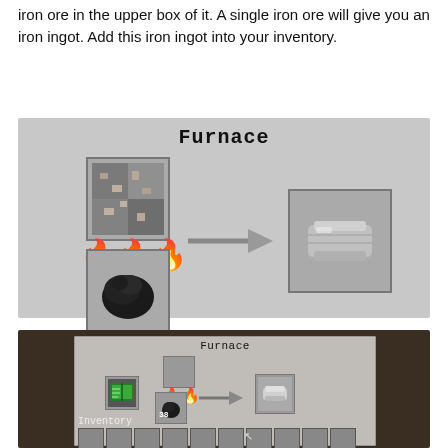iron ore in the upper box of it. A single iron ore will give you an iron ingot. Add this iron ingot into your inventory.
[Figure (illustration): Minecraft furnace diagram showing iron ore in top slot, coal in bottom slot, flames in middle, arrow pointing right to iron ingot result. Title reads 'Furnace'.]
[Figure (screenshot): In-game Minecraft screenshot of furnace UI with an item in left slot, flames and arrow, iron ingot result, and inventory bar below. Title reads 'Furnace' and label 'Inventory' shown.]